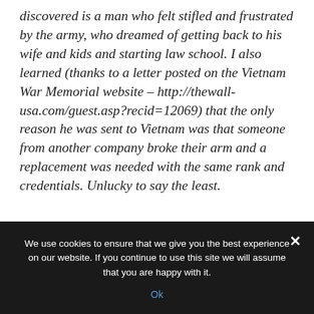discovered is a man who felt stifled and frustrated by the army, who dreamed of getting back to his wife and kids and starting law school. I also learned (thanks to a letter posted on the Vietnam War Memorial website – http://thewall-usa.com/guest.asp?recid=12069) that the only reason he was sent to Vietnam was that someone from another company broke their arm and a replacement was needed with the same rank and credentials. Unlucky to say the least.
We use cookies to ensure that we give you the best experience on our website. If you continue to use this site we will assume that you are happy with it.
Ok